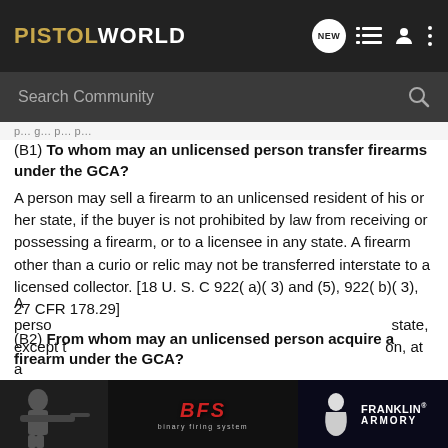PISTOLWORLD
Search Community
(B1) To whom may an unlicensed person transfer firearms under the GCA?
A person may sell a firearm to an unlicensed resident of his or her state, if the buyer is not prohibited by law from receiving or possessing a firearm, or to a licensee in any state. A firearm other than a curio or relic may not be transferred interstate to a licensed collector. [18 U. S. C 922( a)( 3) and (5), 922( b)( 3), 27 CFR 178.29]
(B2) From whom may an unlicensed person acquire a firearm under the GCA?
A person... state, except t... on, at a
[Figure (screenshot): Franklin Armory advertisement banner with armed soldier image and BFS logo]